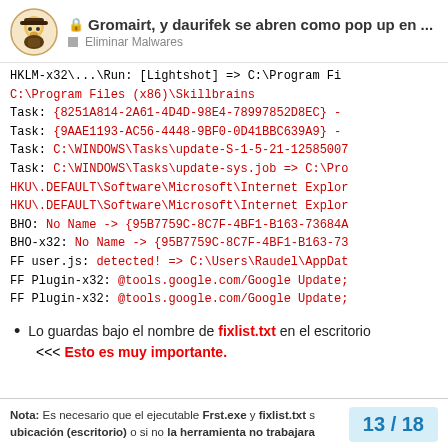🔒 Gromairt, y daurifek se abren como pop up en ... | Eliminar Malwares
HKLM-x32\...\Run: [Lightshot] => C:\Program Fi...
C:\Program Files (x86)\Skillbrains
Task: {8251A814-2A61-4D4D-98E4-78997852D8EC} -
Task: {9AAE1193-AC56-4448-9BF0-0D41BBC639A9} -
Task: C:\WINDOWS\Tasks\update-S-1-5-21-12585007...
Task: C:\WINDOWS\Tasks\update-sys.job => C:\Pro...
HKU\.DEFAULT\Software\Microsoft\Internet Explor...
HKU\.DEFAULT\Software\Microsoft\Internet Explor...
BHO: No Name -> {95B7759C-8C7F-4BF1-B163-73684A...
BHO-x32: No Name -> {95B7759C-8C7F-4BF1-B163-73...
FF user.js: detected! => C:\Users\Raudel\AppDat...
FF Plugin-x32: @tools.google.com/Google Update;...
FF Plugin-x32: @tools.google.com/Google Update;...
Lo guardas bajo el nombre de fixlist.txt en el escritorio <<< Esto es muy importante.
Nota: Es necesario que el ejecutable Frst.exe y fixlist.txt s... ubicación (escritorio) o si no la herramienta no trabajara...
13 / 18